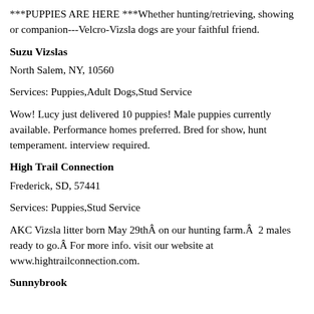***PUPPIES ARE HERE ***Whether hunting/retrieving, showing or companion---Velcro-Vizsla dogs are your faithful friend.
Suzu Vizslas
North Salem, NY, 10560
Services: Puppies,Adult Dogs,Stud Service
Wow! Lucy just delivered 10 puppies! Male puppies currently available. Performance homes preferred. Bred for show, hunt temperament. interview required.
High Trail Connection
Frederick, SD, 57441
Services: Puppies,Stud Service
AKC Vizsla litter born May 29thÂ on our hunting farm.Â  2 males ready to go.Â For more info. visit our website at www.hightrailconnection.com.
Sunnybrook